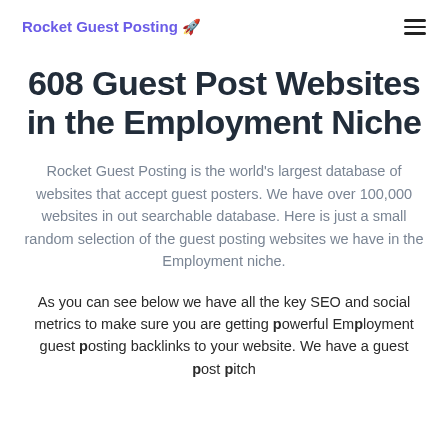Rocket Guest Posting 🚀
608 Guest Post Websites in the Employment Niche
Rocket Guest Posting is the world's largest database of websites that accept guest posters. We have over 100,000 websites in out searchable database. Here is just a small random selection of the guest posting websites we have in the Employment niche.
As you can see below we have all the key SEO and social metrics to make sure you are getting powerful Employment guest posting backlinks to your website. We have a guest post pitch